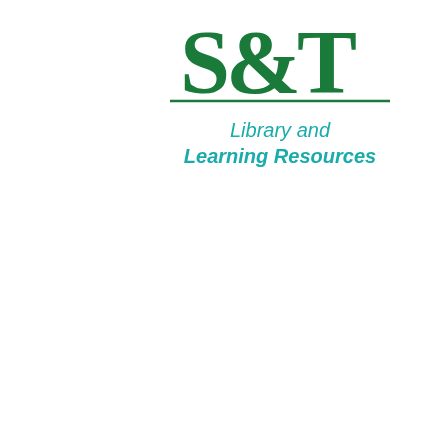[Figure (logo): S&T Library and Learning Resources logo with green serif S&T text and teal subtitle]
DNA... | Rach... | Upper... | 9:00 A...
Earl... | Nico... | Upper... | 9:00 A...
Etch... | Mav... | Upper... | 9:00 A...
Halo... | Emm... | Upper... | 9:00 A...
Hem...